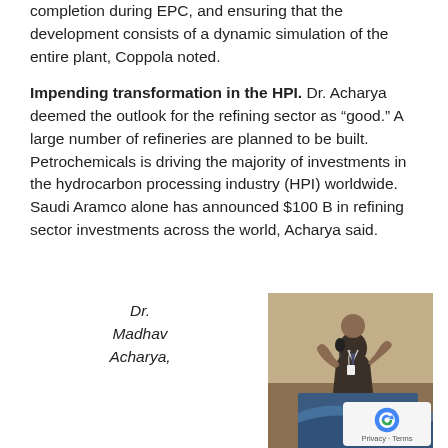completion during EPC, and ensuring that the development consists of a dynamic simulation of the entire plant, Coppola noted.
Impending transformation in the HPI. Dr. Acharya deemed the outlook for the refining sector as “good.” A large number of refineries are planned to be built. Petrochemicals is driving the majority of investments in the hydrocarbon processing industry (HPI) worldwide. Saudi Aramco alone has announced $100 B in refining sector investments across the world, Acharya said.
Dr. Madhav Acharya,
[Figure (photo): Photo of Dr. Madhav Acharya speaking at a podium/lectern at a conference, wearing a suit and conference badge, gesturing with hands]